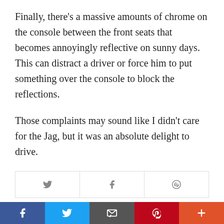Finally, there's a massive amounts of chrome on the console between the front seats that becomes annoyingly reflective on sunny days. This can distract a driver or force him to put something over the console to block the reflections.
Those complaints may sound like I didn't care for the Jag, but it was an absolute delight to drive.
Luxury
[Figure (infographic): Social share buttons row with Twitter bird icon, Facebook f icon, and Pinterest circle icon, all in gray on white background with border]
[Figure (infographic): Bottom mobile share bar with Facebook (blue), Twitter (light blue), Email (gray), Pinterest (red), and More/plus (orange-red) buttons with white icons]